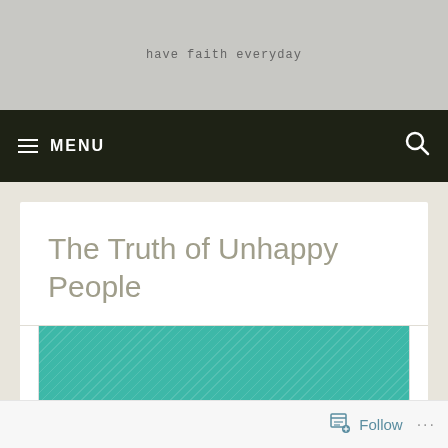have faith everyday
≡ MENU
The Truth of Unhappy People
[Figure (illustration): Teal/turquoise colored rectangular image block with diagonal line texture pattern]
Follow ...